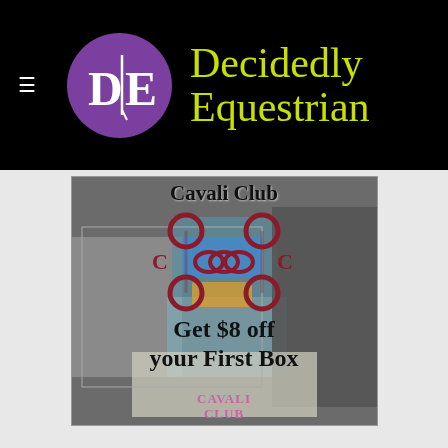[Figure (logo): Decidedly Equestrian website header: black background with purple circle logo containing stylized D|E letters, and brand name 'Decidedly Equestrian' in lime green handwritten font. Hamburger menu icon on the left.]
[Figure (infographic): Cavali Club advertisement image showing a subscription box with equestrian items. Features the Cavali Club logo (dark red snaffle bit design with two C letters), overlaid text 'Cavali Club', 'Get $8 off your First Box', and 'CAVALI CLUB' branding at the bottom.]